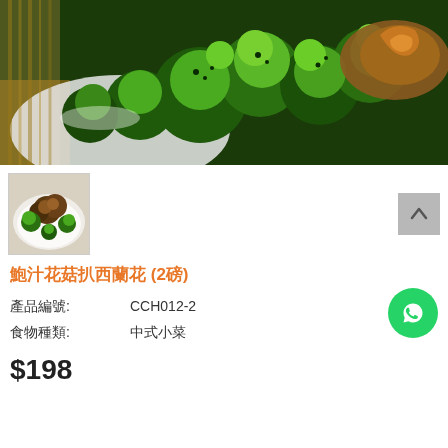[Figure (photo): Close-up photo of broccoli florets on a white plate with what appears to be glazed meat or mushrooms in the background, on a bamboo mat]
[Figure (photo): Thumbnail image of broccoli with mushrooms dish on a white plate]
鮑汁花菇扒西蘭花 (2磅)
| 產品編號: | CCH012-2 |
| 食物種類: | 中式小菜 |
$198